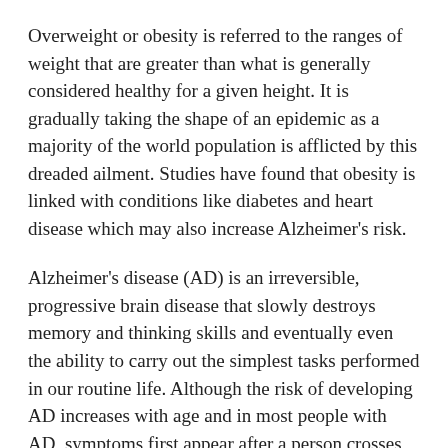Overweight or obesity is referred to the ranges of weight that are greater than what is generally considered healthy for a given height. It is gradually taking the shape of an epidemic as a majority of the world population is afflicted by this dreaded ailment. Studies have found that obesity is linked with conditions like diabetes and heart disease which may also increase Alzheimer's risk.
Alzheimer's disease (AD) is an irreversible, progressive brain disease that slowly destroys memory and thinking skills and eventually even the ability to carry out the simplest tasks performed in our routine life. Although the risk of developing AD increases with age and in most people with AD, symptoms first appear after a person crosses the age of 60. Some people are of the notion that AD is a part of normal aging but it's absolutely untrue. It is caused by a disease that affects the brain. According to a